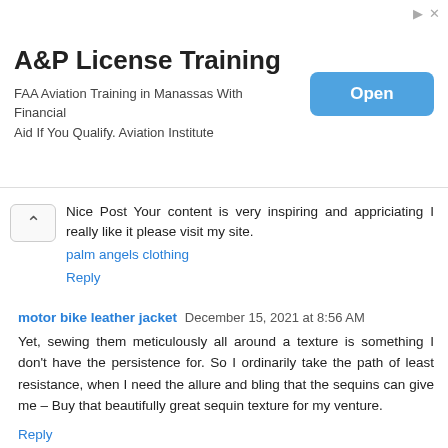[Figure (screenshot): Advertisement banner for A&P License Training. Shows 'A&P License Training' title, description 'FAA Aviation Training in Manassas With Financial Aid If You Qualify. Aviation Institute', and a blue 'Open' button.]
Nice Post Your content is very inspiring and appriciating I really like it please visit my site.
palm angels clothing
Reply
motor bike leather jacket  December 15, 2021 at 8:56 AM
Yet, sewing them meticulously all around a texture is something I don't have the persistence for. So I ordinarily take the path of least resistance, when I need the allure and bling that the sequins can give me – Buy that beautifully great sequin texture for my venture.
Reply
Tahir Naqash  December 23, 2021 at 9:16 PM